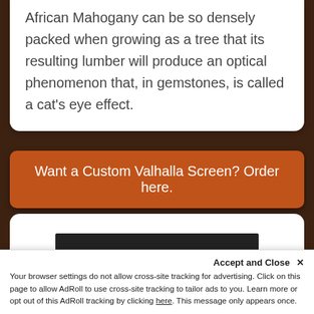African Mahogany can be so densely packed when growing as a tree that its resulting lumber will produce an optical phenomenon that, in gemstones, is called a cat's eye effect.
Want a Custom Valhalla Screen? Order here.
[Figure (screenshot): YouTube video thumbnail showing Valhalla Screens video with title 'Valhalla Screens: In...' and a menu icon]
Accept and Close ✕
Your browser settings do not allow cross-site tracking for advertising. Click on this page to allow AdRoll to use cross-site tracking to tailor ads to you. Learn more or opt out of this AdRoll tracking by clicking here. This message only appears once.